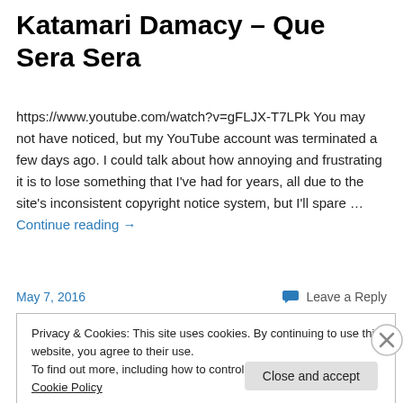Katamari Damacy – Que Sera Sera
https://www.youtube.com/watch?v=gFLJX-T7LPk You may not have noticed, but my YouTube account was terminated a few days ago. I could talk about how annoying and frustrating it is to lose something that I've had for years, all due to the site's inconsistent copyright notice system, but I'll spare … Continue reading →
May 7, 2016
Leave a Reply
Privacy & Cookies: This site uses cookies. By continuing to use this website, you agree to their use.
To find out more, including how to control cookies, see here: Cookie Policy
Close and accept